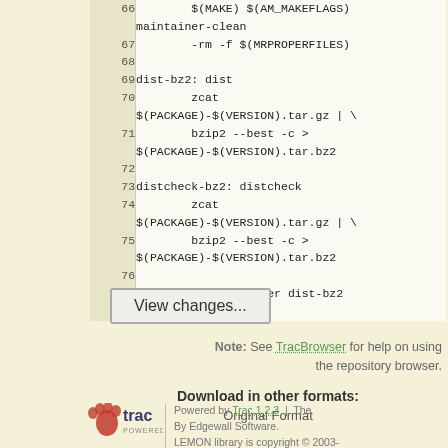[Figure (screenshot): Code viewer showing Makefile lines 66-77 with line numbers in beige gutter and code in monospace font on light yellow background]
View changes...
Note: See TracBrowser for help on using the repository browser.
Download in other formats:
Original Format
Powered by Trac 1.2.3 | The By Edgewall Software. LEMON library is copyright © 2003-2018 by the Egerváry Research Group on Combinatorial Optimization